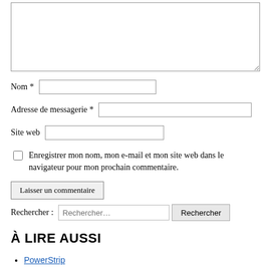[Figure (screenshot): Web comment form with textarea for comment, fields for Nom (name), Adresse de messagerie (email), Site web (website), a checkbox to save info, and a submit button labeled 'Laisser un commentaire']
Rechercher :
Rechercher
À LIRE AUSSI
PowerStrip